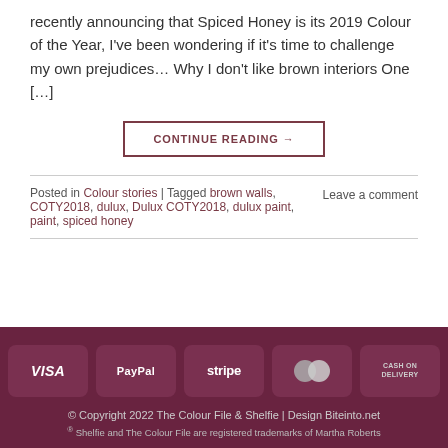recently announcing that Spiced Honey is its 2019 Colour of the Year, I've been wondering if it's time to challenge my own prejudices… Why I don't like brown interiors One […]
CONTINUE READING →
Posted in Colour stories | Tagged brown walls, COTY2018, dulux, Dulux COTY2018, dulux paint, paint, spiced honey    Leave a comment
[Figure (other): Payment icons: VISA, PayPal, stripe, Mastercard, CASH ON DELIVERY on dark red background]
© Copyright 2022 The Colour File & Shelfie | Design Biteinto.net
® Shelfie and The Colour File are registered trademarks of Martha Roberts